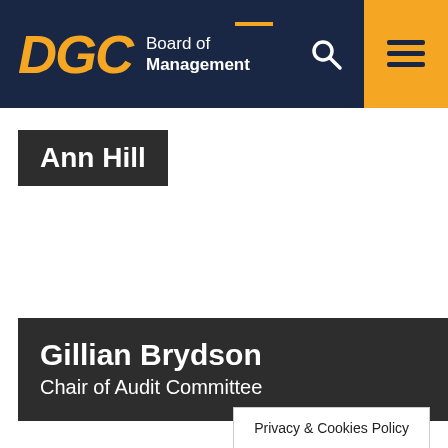DGC Board of Management
Ann Hill
Gillian Brydson
Chair of Audit Committee
Privacy & Cookies Policy